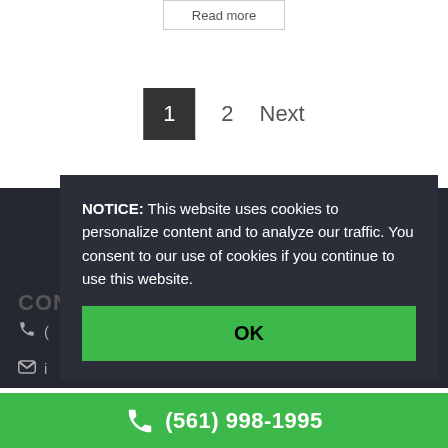Read more
1
2
Next
CON
(
i
NOTICE: This website uses cookies to personalize content and to analyze our traffic. You consent to our use of cookies if you continue to use this website.
OK
(561) 998-1995